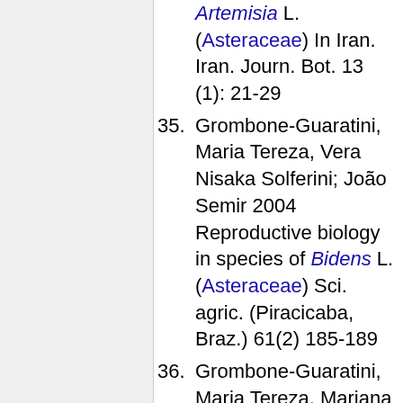(continuation) Artemisia L. (Asteraceae) In Iran. Iran. Journ. Bot. 13 (1): 21-29
35. Grombone-Guaratini, Maria Tereza, Vera Nisaka Solferini; João Semir 2004 Reproductive biology in species of Bidens L. (Asteraceae) Sci. agric. (Piracicaba, Braz.) 61(2) 185-189
36. Grombone-Guaratini, Maria Tereza, Mariana Esteves Mansanares, João Semir, Vera